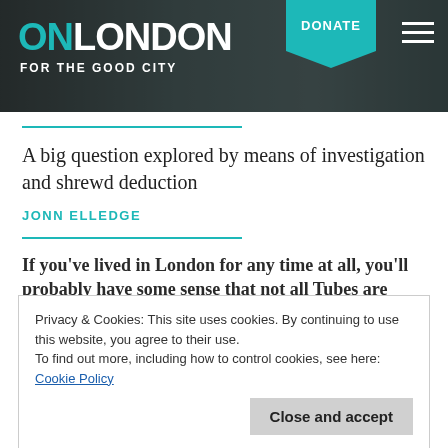[Figure (photo): OnLondon website header banner with city skyline background, teal DONATE button and hamburger menu]
A big question explored by means of investigation and shrewd deduction
JONN ELLEDGE
If you've lived in London for any time at all, you'll probably have some sense that not all Tubes are created equal. The Victoria line speeds
Privacy & Cookies: This site uses cookies. By continuing to use this website, you agree to their use.
To find out more, including how to control cookies, see here:
Cookie Policy
Close and accept
such obviously made-up places as West